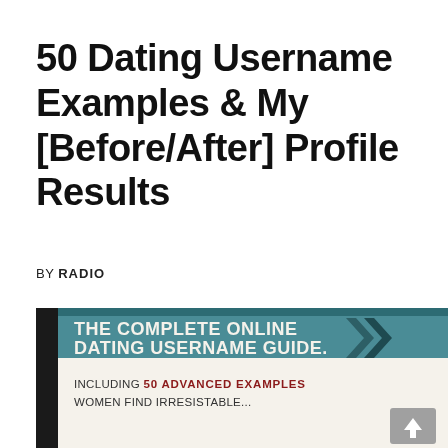50 Dating Username Examples & My [Before/After] Profile Results
BY RADIO
[Figure (illustration): A promotional image for 'The Complete Online Dating Username Guide.' featuring a teal/dark header bar, a light cream content area, chevron arrows in dark teal, and text reading 'INCLUDING 50 ADVANCED EXAMPLES WOMEN FIND IRRESISTABLE...' with '50 ADVANCED EXAMPLES' in red/dark red bold uppercase. A gray scroll-to-top button appears at the bottom right.]